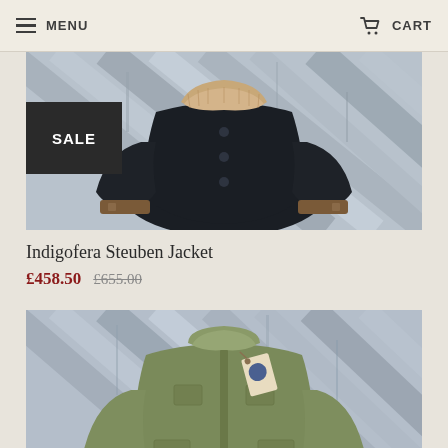MENU   CART
[Figure (photo): Dark navy/black jacket with shearling/fur collar and leather buckle cuffs, laid flat on a rustic wooden background. SALE badge overlay in top left.]
Indigofera Steuben Jacket
£458.50  £655.00
[Figure (photo): Olive/khaki military-style jacket with tag, laid flat on a rustic wooden background. Jacket has multiple pockets and stand collar.]